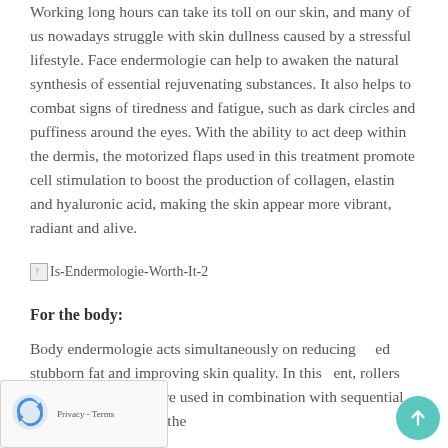Working long hours can take its toll on our skin, and many of us nowadays struggle with skin dullness caused by a stressful lifestyle. Face endermologie can help to awaken the natural synthesis of essential rejuvenating substances. It also helps to combat signs of tiredness and fatigue, such as dark circles and puffiness around the eyes. With the ability to act deep within the dermis, the motorized flaps used in this treatment promote cell stimulation to boost the production of collagen, elastin and hyaluronic acid, making the skin appear more vibrant, radiant and alive.
[Figure (other): Broken image placeholder with alt text 'Is-Endermologie-Worth-It-2']
For the body:
Body endermologie acts simultaneously on reducing stubborn fat and improving skin quality. In this treatment, rollers and motorized flaps are used in combination with sequential suction to manipulate the